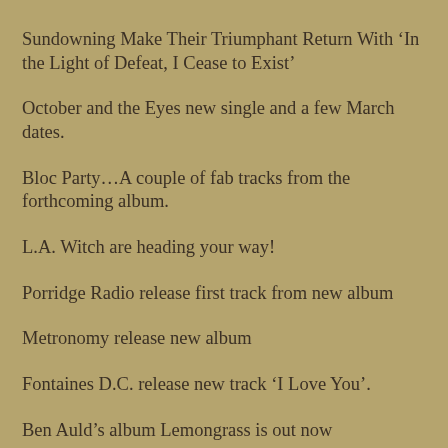Sundowning Make Their Triumphant Return With ‘In the Light of Defeat, I Cease to Exist’
October and the Eyes new single and a few March dates.
Bloc Party…A couple of fab tracks from the forthcoming album.
L.A. Witch are heading your way!
Porridge Radio release first track from new album
Metronomy release new album
Fontaines D.C. release new track ‘I Love You’.
Ben Auld’s album Lemongrass is out now